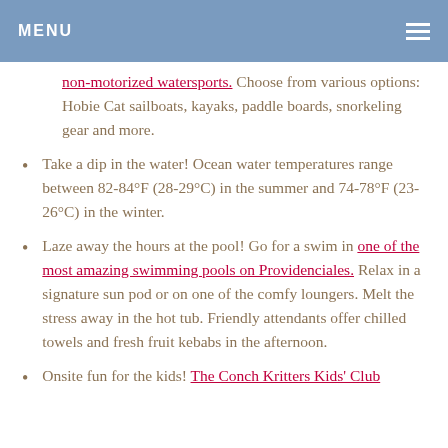MENU
non-motorized watersports.  Choose from various options: Hobie Cat sailboats, kayaks, paddle boards, snorkeling gear and more.
Take a dip in the water! Ocean water temperatures range between 82-84°F (28-29°C) in the summer and 74-78°F (23-26°C) in the winter.
Laze away the hours at the pool!  Go for a swim in one of the most amazing swimming pools on Providenciales.  Relax in a signature sun pod or on one of the comfy loungers.  Melt the stress away in the hot tub.  Friendly attendants offer chilled towels and fresh fruit kebabs in the afternoon.
Onsite fun for the kids!  The Conch Kritters Kids' Club